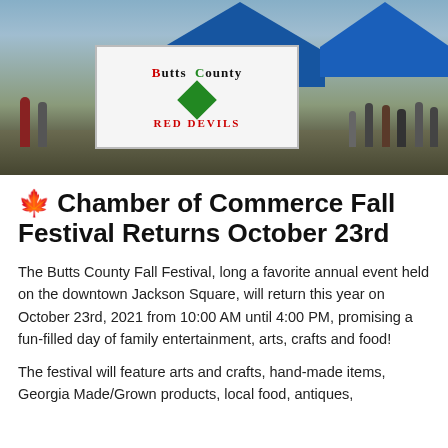[Figure (photo): Outdoor fall festival scene showing people gathered at the downtown square with blue tents and a banner reading Butts County Red Devils]
🍁 Chamber of Commerce Fall Festival Returns October 23rd
The Butts County Fall Festival, long a favorite annual event held on the downtown Jackson Square, will return this year on October 23rd, 2021 from 10:00 AM until 4:00 PM, promising a fun-filled day of family entertainment, arts, crafts and food!
The festival will feature arts and crafts, hand-made items, Georgia Made/Grown products, local food, antiques,